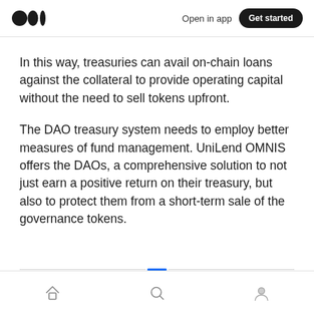Open in app  Get started
In this way, treasuries can avail on-chain loans against the collateral to provide operating capital without the need to sell tokens upfront.
The DAO treasury system needs to employ better measures of fund management. UniLend OMNIS offers the DAOs, a comprehensive solution to not just earn a positive return on their treasury, but also to protect them from a short-term sale of the governance tokens.
Home  Search  Profile